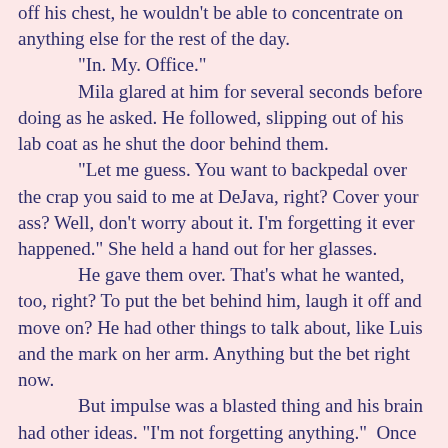off his chest, he wouldn't be able to concentrate on anything else for the rest of the day.
	"In. My. Office."
	Mila glared at him for several seconds before doing as he asked. He followed, slipping out of his lab coat as he shut the door behind them.
	"Let me guess. You want to backpedal over the crap you said to me at DeJava, right? Cover your ass? Well, don't worry about it. I'm forgetting it ever happened." She held a hand out for her glasses.
	He gave them over. That's what he wanted, too, right? To put the bet behind him, laugh it off and move on? He had other things to talk about, like Luis and the mark on her arm. Anything but the bet right now.
	But impulse was a blasted thing and his brain had other ideas. "I'm not forgetting anything."  Once he'd said it, he knew where he was headed. Where he had to be headed, because beyond her hunger the other day, someone had hurt her.
	"It's a legitimate experiment, one we'd both benefit from winning. Not us, actually, but the children. Considering